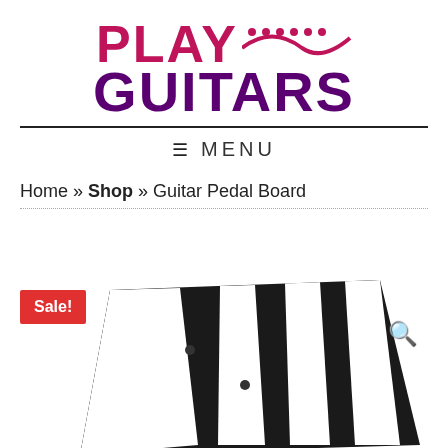[Figure (logo): Play Guitars logo with guitar graphic in red/crimson and purple text]
≡  MENU
Home » Shop » Guitar Pedal Board
Sale!
[Figure (photo): Black and white striped guitar pedal board product photo]